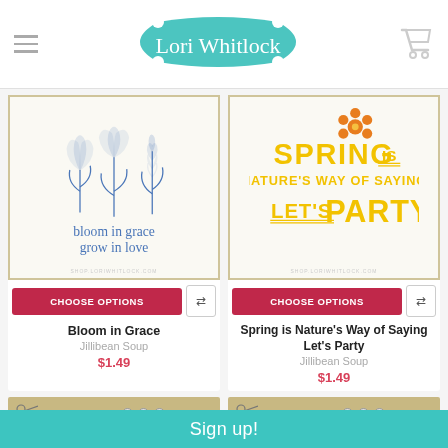Lori Whitlock
[Figure (illustration): Product image: 'Bloom in Grace' - blue line drawing of three wildflowers/lavender stems with cursive text 'bloom in grace grow in love' on white background with tan border]
[Figure (illustration): Product image: 'Spring is Nature's Way of Saying Let's Party' - yellow bold typography with orange flower accent on white background with tan border]
CHOOSE OPTIONS
CHOOSE OPTIONS
Bloom in Grace
Jillibean Soup
$1.49
Spring is Nature's Way of Saying Let's Party
Jillibean Soup
$1.49
[Figure (illustration): Bottom strip: Jillibean Soup digital cutting file product card]
[Figure (illustration): Bottom strip: Jillibean Soup digital cutting file product card]
Sign up!